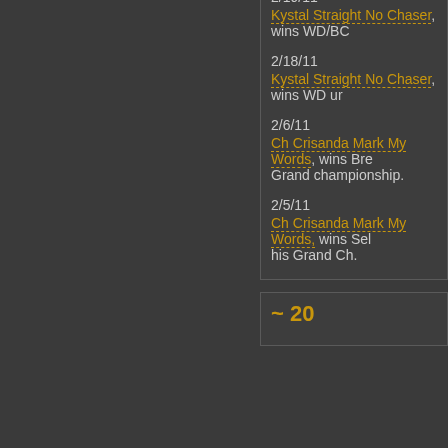2/20/11
Kystal Straight No Chaser, wins WD/BC
2/19/11
Kystal Straight No Chaser, wins WD/BC
2/18/11
Kystal Straight No Chaser, wins WD un
2/6/11
Ch Crisanda Mark My Words, wins Bre Grand championship.
2/5/11
Ch Crisanda Mark My Words, wins Sel his Grand Ch.
~ 20